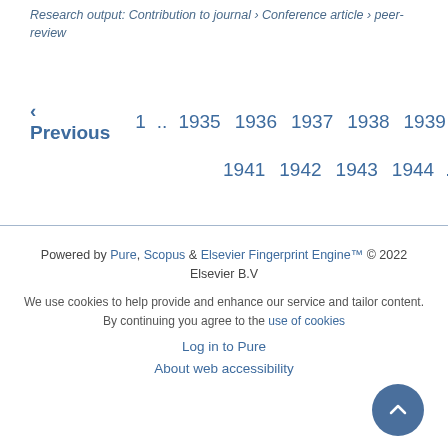Research output: Contribution to journal › Conference article › peer-review
‹ Previous  1 .. 1935 1936 1937 1938 1939  1940  1941 1942 1943 1944 .. 2032  Next ›
Powered by Pure, Scopus & Elsevier Fingerprint Engine™ © 2022 Elsevier B.V

We use cookies to help provide and enhance our service and tailor content. By continuing you agree to the use of cookies

Log in to Pure

About web accessibility